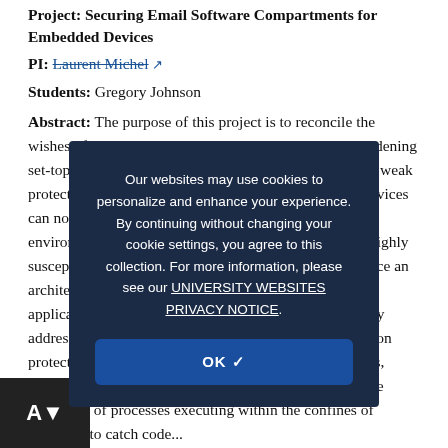Project: Securing Email Software Compartments for Embedded Devices
PI: Laurent Michel [link icon]
Students: Gregory Johnson
Abstract: The purpose of this project is to reconcile the wishes of customers and the security imperatives by hardening set-top-boxes and routers against attacks that exploit the weak protection conferred by default configurations. These devices can no longer be assumed to be operating in a trusty environment and their inet-connectedness makes them highly susceptible to attacks. Specifically, the intent is to produce an architecture with lightweight containers where each application deployed on embedded devices that explicitly address issues of containers isolation, privileges escalation protection, rights restriction within and across containers, installation validation with cryptographic means, runtime validation of processes executing within the confines of container to catch code...
Our websites may use cookies to personalize and enhance your experience. By continuing without changing your cookie settings, you agree to this collection. For more information, please see our UNIVERSITY WEBSITES PRIVACY NOTICE.
OK ✓